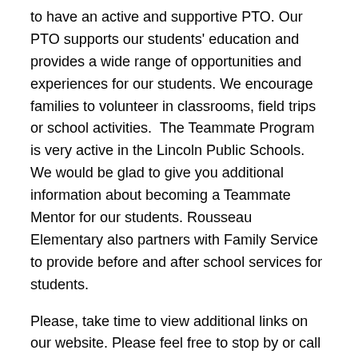to have an active and supportive PTO. Our PTO supports our students' education and provides a wide range of opportunities and experiences for our students. We encourage families to volunteer in classrooms, field trips or school activities.  The Teammate Program is very active in the Lincoln Public Schools. We would be glad to give you additional information about becoming a Teammate Mentor for our students. Rousseau Elementary also partners with Family Service to provide before and after school services for students.
Please, take time to view additional links on our website. Please feel free to stop by or call if you have any questions.
Dr. Wendy Badje
Principal
Parents may request and the District will provide